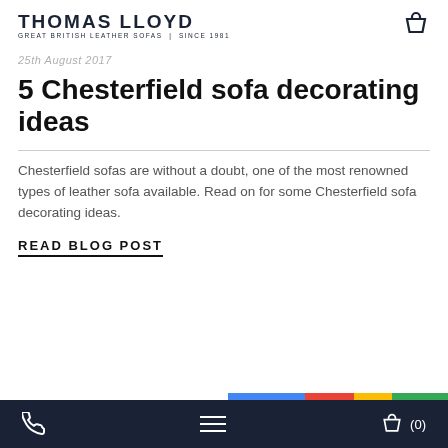THOMAS LLOYD GREAT BRITISH LEATHER SOFAS | SINCE 1981
25th August 2017
5 Chesterfield sofa decorating ideas
Chesterfield sofas are without a doubt, one of the most renowned types of leather sofa available. Read on for some Chesterfield sofa decorating ideas.
READ BLOG POST
(0)